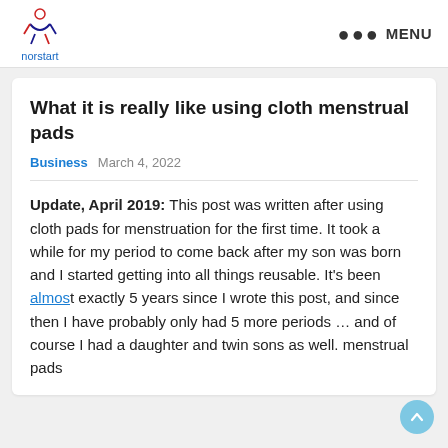norstart   ●●● MENU
What it is really like using cloth menstrual pads
Business   March 4, 2022
Update, April 2019: This post was written after using cloth pads for menstruation for the first time. It took a while for my period to come back after my son was born and I started getting into all things reusable. It's been almost exactly 5 years since I wrote this post, and since then I have probably only had 5 more periods … and of course I had a daughter and twin sons as well. menstrual pads